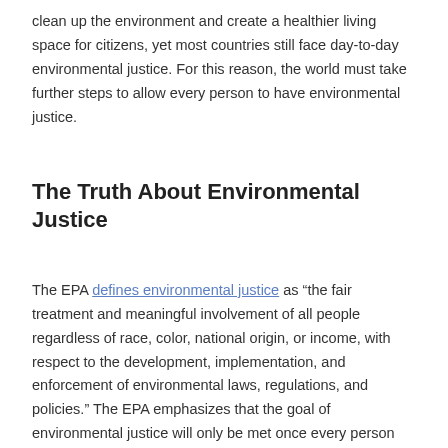clean up the environment and create a healthier living space for citizens, yet most countries still face day-to-day environmental justice. For this reason, the world must take further steps to allow every person to have environmental justice.
The Truth About Environmental Justice
The EPA defines environmental justice as “the fair treatment and meaningful involvement of all people regardless of race, color, national origin, or income, with respect to the development, implementation, and enforcement of environmental laws, regulations, and policies.” The EPA emphasizes that the goal of environmental justice will only be met once every person around the world has both the same accessibility to protection from natural disasters and environmental/health hazards and the equal right to partake in community and country decision-making about environmental health.
While environmental justice is a goal of a lot of different communities, countries and organizations, environmental injustice